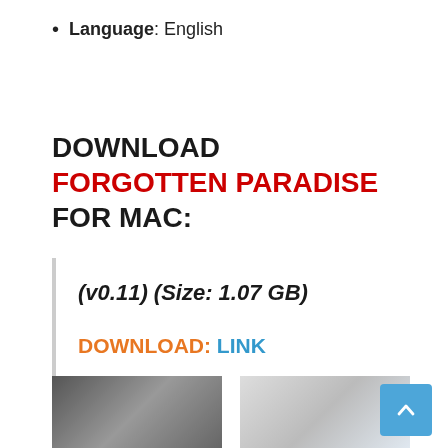Language: English
DOWNLOAD FORGOTTEN PARADISE FOR MAC:
(v0.11) (Size: 1.07 GB)
DOWNLOAD: LINK
More Files Like:
[Figure (photo): Thumbnail image on the left showing a dark scene]
[Figure (photo): Thumbnail image on the right showing a light/sky scene]